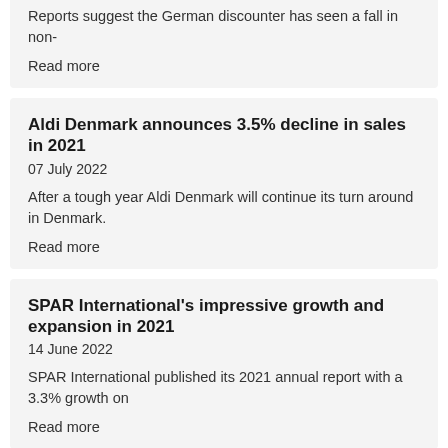Reports suggest the German discounter has seen a fall in non-
Read more
Aldi Denmark announces 3.5% decline in sales in 2021
07 July 2022
After a tough year Aldi Denmark will continue its turn around in Denmark.
Read more
SPAR International's impressive growth and expansion in 2021
14 June 2022
SPAR International published its 2021 annual report with a 3.3% growth on
Read more